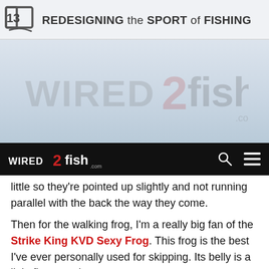13 REDESIGNING the SPORT of FISHING
[Figure (logo): Wired2Fish.com watermark logo on a light blue-grey water background]
[Figure (logo): Wired2Fish.com navigation bar logo in white and red on black background, with search and menu icons]
little so they're pointed up slightly and not running parallel with the back the way they come.
Then for the walking frog, I'm a really big fan of the Strike King KVD Sexy Frog. This frog is the best I've ever personally used for skipping. Its belly is a little flatter and